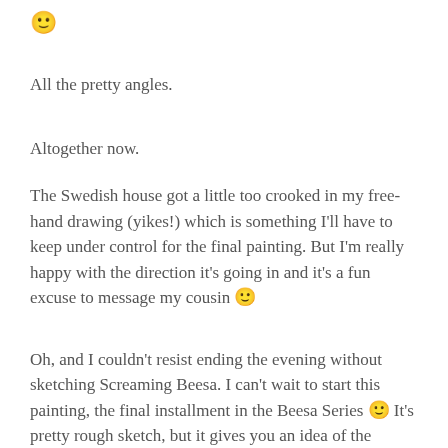🙂
All the pretty angles.
Altogether now.
The Swedish house got a little too crooked in my free-hand drawing (yikes!) which is something I'll have to keep under control for the final painting. But I'm really happy with the direction it's going in and it's a fun excuse to message my cousin 🙂
Oh, and I couldn't resist ending the evening without sketching Screaming Beesa. I can't wait to start this painting, the final installment in the Beesa Series 🙂 It's pretty rough sketch, but it gives you an idea of the